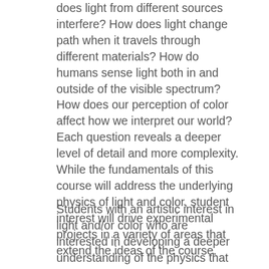does light from different sources interfere? How does light change path when it travels through different materials? How do humans sense light both in and outside of the visible spectrum? How does our perception of color affect how we interpret our world? Each question reveals a deeper level of detail and more complexity. While the fundamentals of this course will address the underlying physics of light and color, student interest will drive experimental projects in a variety of areas that extend the ideas of the course.
Students with an artistic interest in light and/or color who are interested in developing a deeper understanding of the physics that underlies our visual